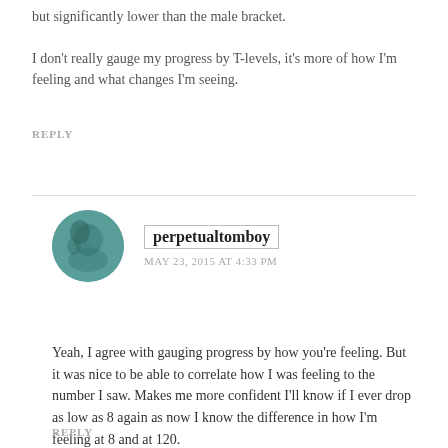but significantly lower than the male bracket.
I don't really gauge my progress by T-levels, it's more of how I'm feeling and what changes I'm seeing.
REPLY
[Figure (photo): Circular avatar photo of user perpetualtomboy, dark teal/green toned image]
perpetualtomboy
MAY 23, 2015 AT 4:33 PM
Yeah, I agree with gauging progress by how you're feeling. But it was nice to be able to correlate how I was feeling to the number I saw. Makes me more confident I'll know if I ever drop as low as 8 again as now I know the difference in how I'm feeling at 8 and at 120.
REPLY